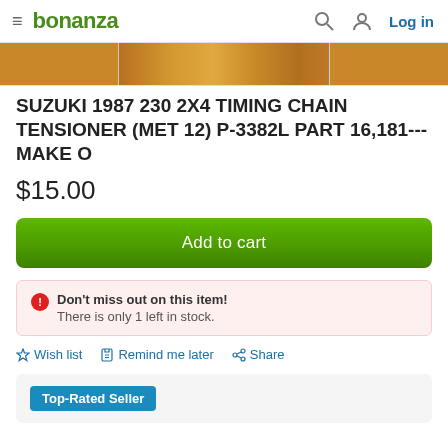bonanza | Log in
[Figure (photo): Partial product image showing wooden surface texture, cropped at top of page]
SUZUKI 1987 230 2X4 TIMING CHAIN TENSIONER (MET 12) P-3382L PART 16,181---MAKE O
$15.00
Add to cart
Don't miss out on this item! There is only 1 left in stock.
☆ Wish list  🔗 Remind me later  < Share
Top-Rated Seller